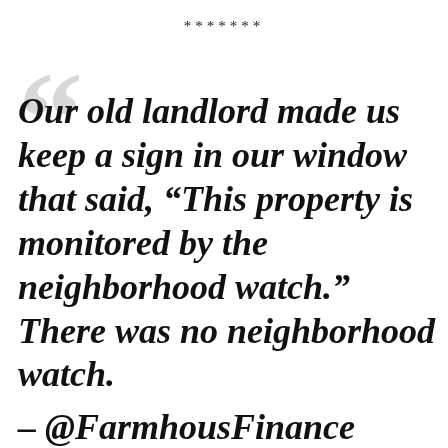*******
Our old landlord made us keep a sign in our window that said, “This property is monitored by the neighborhood watch.” There was no neighborhood watch.
– @FarmhousFinance